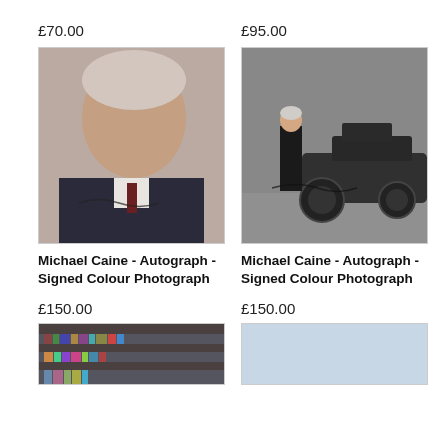£70.00
£95.00
[Figure (photo): Close-up photo of Michael Caine, an elderly man with white/grey hair, wearing a dark suit and tie, mouth slightly open, with an autograph signature on the photo.]
[Figure (photo): Photo of Michael Caine standing next to a large dark military/Batmobile vehicle in an outdoor setting, wearing a long black coat, with an autograph signature on the photo.]
Michael Caine - Autograph - Signed Colour Photograph
Michael Caine - Autograph - Signed Colour Photograph
£150.00
£150.00
[Figure (photo): Partial view of a photo showing bookshelves with books in dark tones.]
[Figure (photo): Partial view of a light blue/grey background photo, mostly blank.]